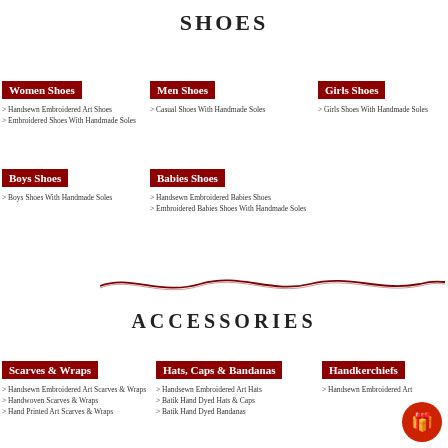SHOES
Women Shoes
> Handsewn Embroidered Art Shoes
> Embroidered Shoes With Handmade Soles
Men Shoes
> Casual Shoes With Handmade Soles
Girls Shoes
> Girls Shoes With Handmade Soles
Boys Shoes
> Boys Shoes With Handmade Soles
Babies Shoes
> Handsewn Embroidered Babies Shoes
> Embroidered Babies Shoes With Handmade Soles
[Figure (illustration): Decorative wave/swirl divider line in dark red/maroon]
ACCESSORIES
Scarves & Wraps
> Handsewn Embroidered Art Scarves & Wraps
> Handwoven Scarves & Wraps
> Hand Printed Art Scarves & Wraps
Hats, Caps & Bandanas
> Handsewn Embroidered Art Hats
> Batik Hand Dyed Hats & Caps
> Batik Hand Dyed Bandanas
Handkerchiefs
> Handsewn Embroidered Art